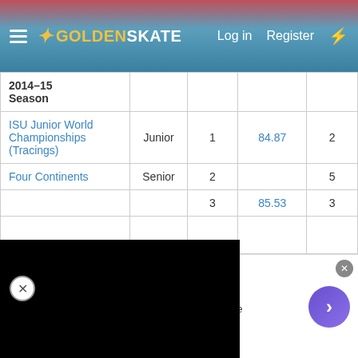GoldenSkate — Log in | Register
| Competition | Level | SP | Score | Total |
| --- | --- | --- | --- | --- |
| 2014–15 Season |  |  |  |  |
| ISU Junior World Championships (Tracings) | Junior | 1 | 84.87 | 2 |
| Four Continents | Senior | 2 |  | 5 |
|  |  | 3 | 85.53 | 3 |
[Figure (screenshot): Black advertisement video overlay with close button]
[Figure (infographic): NFL Shop ad banner: Official NFL Gear, 50% OFF, Get Your Favorite Team's Gear Here, www.nflshop.com]